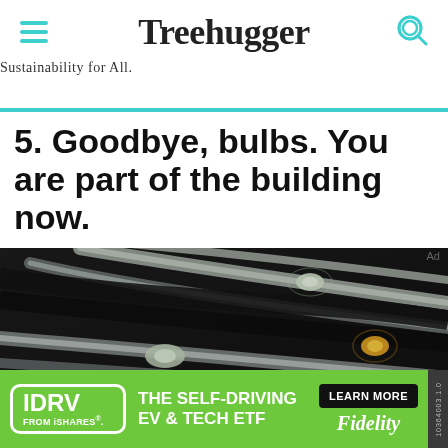Treehugger — Sustainability for All.
5. Goodbye, bulbs. You are part of the building now.
[Figure (photo): Close-up macro photo of what appears to be organic-light-emitting panels or flexible LED light strips embedded in a dark surface, showing glowing oval-shaped light nodes and curved light channels on a dark textured background.]
Ad
IDRV FROM iSHARES. THE SELF-DRIVING EV & TECH ETF LEARN MORE Fidelity